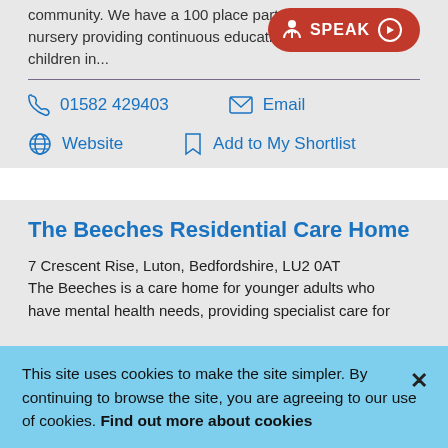community.  We have a 100 place part-time nursery providing continuous education children in...
01582 429403
Email
Website
Add to My Shortlist
The Beeches Residential Care Home
7 Crescent Rise, Luton, Bedfordshire, LU2 0AT
The Beeches is a care home for younger adults who have mental health needs, providing specialist care for
This site uses cookies to make the site simpler. By continuing to browse the site, you are agreeing to our use of cookies. Find out more about cookies